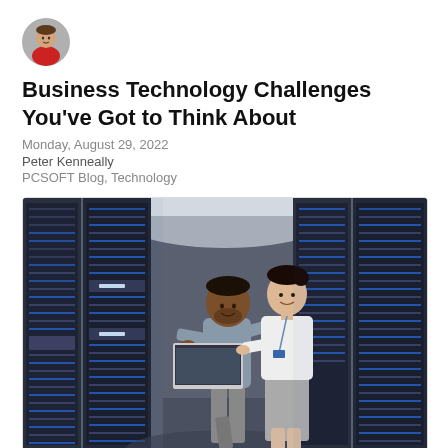[Figure (photo): Small circular avatar photo of a man in a red shirt]
Business Technology Challenges You've Got to Think About
Monday, August 29, 2022
Peter Kenneally
PCSOFT Blog, Technology
[Figure (photo): Two IT professionals, a man and a woman, standing in a server room data center. The man is holding an open laptop and they are both looking at it and smiling. Tall server racks with blinking blue lights line both sides of the aisle.]